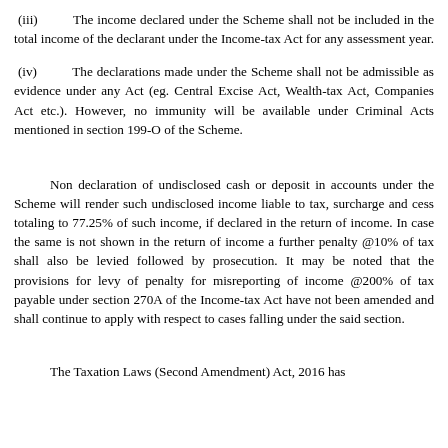(iii)   The income declared under the Scheme shall not be included in the total income of the declarant under the Income-tax Act for any assessment year.
(iv)   The declarations made under the Scheme shall not be admissible as evidence under any Act (eg. Central Excise Act, Wealth-tax Act, Companies Act etc.). However, no immunity will be available under Criminal Acts mentioned in section 199-O of the Scheme.
Non declaration of undisclosed cash or deposit in accounts under the Scheme will render such undisclosed income liable to tax, surcharge and cess totaling to 77.25% of such income, if declared in the return of income. In case the same is not shown in the return of income a further penalty @10% of tax shall also be levied followed by prosecution. It may be noted that the provisions for levy of penalty for misreporting of income @200% of tax payable under section 270A of the Income-tax Act have not been amended and shall continue to apply with respect to cases falling under the said section.
The Taxation Laws (Second Amendment) Act, 2016 has